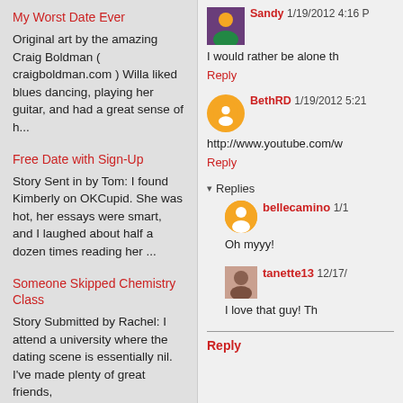My Worst Date Ever
Original art by the amazing Craig Boldman ( craigboldman.com ) Willa liked blues dancing, playing her guitar, and had a great sense of h...
Free Date with Sign-Up
Story Sent in by Tom: I found Kimberly on OKCupid. She was hot, her essays were smart, and I laughed about half a dozen times reading her ...
Someone Skipped Chemistry Class
Story Submitted by Rachel: I attend a university where the dating scene is essentially nil.  I've made plenty of great friends,
Sandy 1/19/2012 4:16 P
I would rather be alone th
Reply
BethRD 1/19/2012 5:21
http://www.youtube.com/w
Reply
Replies
bellecamino 1/1
Oh myyy!
tanette13 12/17/
I love that guy! Th
Reply